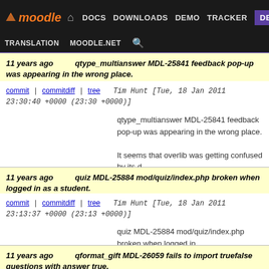moodle DOCS DOWNLOADS DEMO TRACKER DEV TRANSLATION MOODLE.NET
11 years ago qtype_multianswer MDL-25841 feedback pop-up was appearing in the wrong place.
commit | commitdiff | tree Tim Hunt [Tue, 18 Jan 2011 23:30:40 +0000 (23:30 +0000)]
qtype_multianswer MDL-25841 feedback pop-up was appearing in the wrong place.
It seems that overlib was getting confused by its d
11 years ago quiz MDL-25884 mod/quiz/index.php broken when logged in as a student.
commit | commitdiff | tree Tim Hunt [Tue, 18 Jan 2011 23:13:37 +0000 (23:13 +0000)]
quiz MDL-25884 mod/quiz/index.php broken when logged in
11 years ago qformat_gift MDL-26059 fails to import truefalse questions with answer true.